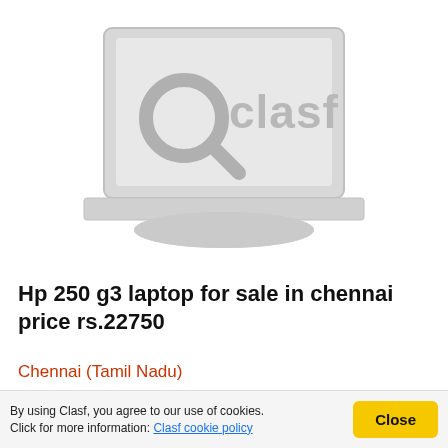[Figure (logo): Clasf laptop placeholder image with Clasf logo on a grey laptop illustration]
Hp 250 g3 laptop for sale in chennai price rs.22750
Chennai (Tamil Nadu)
Call 9677003366 HP 250 G3 Laptop Price List in Chennai. You can always find the latest products and
By using Clasf, you agree to our use of cookies. Click for more information: Clasf cookie policy